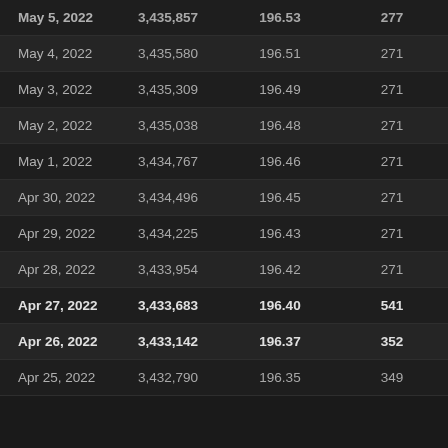| Date | Total | Rate | Daily |
| --- | --- | --- | --- |
| May 5, 2022 | 3,435,857 | 196.53 | 277 |
| May 4, 2022 | 3,435,580 | 196.51 | 271 |
| May 3, 2022 | 3,435,309 | 196.49 | 271 |
| May 2, 2022 | 3,435,038 | 196.48 | 271 |
| May 1, 2022 | 3,434,767 | 196.46 | 271 |
| Apr 30, 2022 | 3,434,496 | 196.45 | 271 |
| Apr 29, 2022 | 3,434,225 | 196.43 | 271 |
| Apr 28, 2022 | 3,433,954 | 196.42 | 271 |
| Apr 27, 2022 | 3,433,683 | 196.40 | 541 |
| Apr 26, 2022 | 3,433,142 | 196.37 | 352 |
| Apr 25, 2022 | 3,432,790 | 196.35 | 349 |